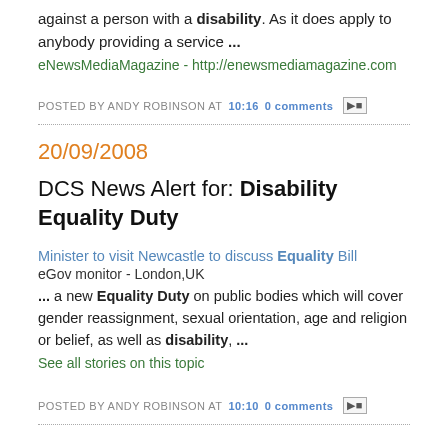against a person with a disability. As it does apply to anybody providing a service ...
eNewsMediaMagazine - http://enewsmediamagazine.com
POSTED BY ANDY ROBINSON AT 10:16   0 comments
20/09/2008
DCS News Alert for: Disability Equality Duty
Minister to visit Newcastle to discuss Equality Bill
eGov monitor - London,UK
... a new Equality Duty on public bodies which will cover gender reassignment, sexual orientation, age and religion or belief, as well as disability, ...
See all stories on this topic
POSTED BY ANDY ROBINSON AT 10:10   0 comments